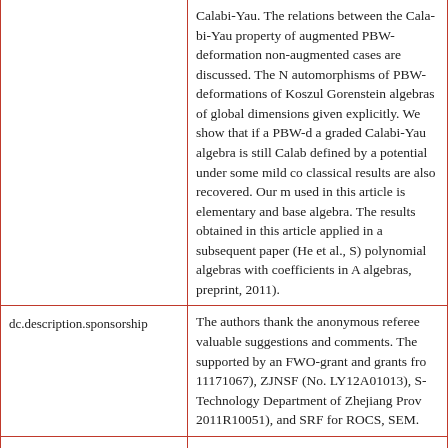| Field | Value |
| --- | --- |
|  | Calabi-Yau. The relations between the Calabi-Yau property of augmented PBW-deformation and non-augmented cases are discussed. The N... automorphisms of PBW-deformations of Koszul Gorenstein algebras of global dimensions ... given explicitly. We show that if a PBW-d... a graded Calabi-Yau algebra is still Calabi... defined by a potential under some mild co... classical results are also recovered. Our m... used in this article is elementary and base... algebra. The results obtained in this article... applied in a subsequent paper (He et al., S... polynomial algebras with coefficients in A... algebras, preprint, 2011). |
| dc.description.sponsorship | The authors thank the anonymous referee... valuable suggestions and comments. The ... supported by an FWO-grant and grants fr... 11171067), ZJNSF (No. LY12A01013), S... Technology Department of Zhejiang Prov... 2011R10051), and SRF for ROCS, SEM. |
| dc.language.iso | en |